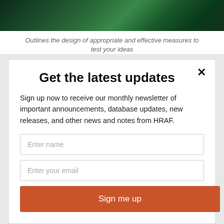[Figure (photo): Dark teal/green abstract image, partially visible at top of page]
Outlines the design of appropriate and effective measures to test your ideas
Get the latest updates
Sign up now to receive our monthly newsletter of important announcements, database updates, new releases, and other news and notes from HRAF.
Enter name
Enter your email
Sign me up